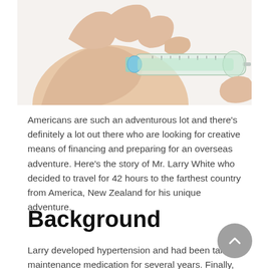[Figure (photo): A hand holding a medical syringe/needle, being filled or handed to another hand in the background. The syringe has measurement markings and a blue cap/plunger.]
Americans are such an adventurous lot and there's definitely a lot out there who are looking for creative means of financing and preparing for an overseas adventure. Here's the story of Mr. Larry White who decided to travel for 42 hours to the farthest country from America, New Zealand for his unique adventure.
Background
Larry developed hypertension and had been taking maintenance medication for several years. Finally, he